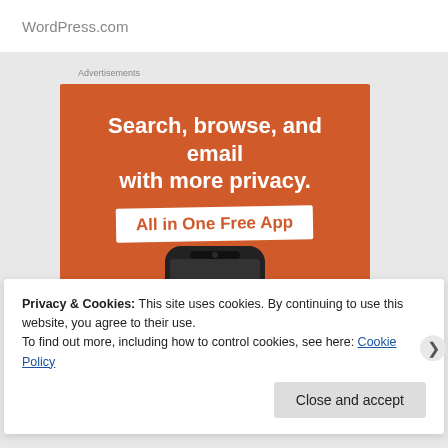WordPress.com
Advertisements
[Figure (illustration): DuckDuckGo advertisement banner on orange background with text 'Search, browse, and email with more privacy. All in One Free App' and a phone showing the DuckDuckGo app icon.]
Privacy & Cookies: This site uses cookies. By continuing to use this website, you agree to their use.
To find out more, including how to control cookies, see here: Cookie Policy
Close and accept